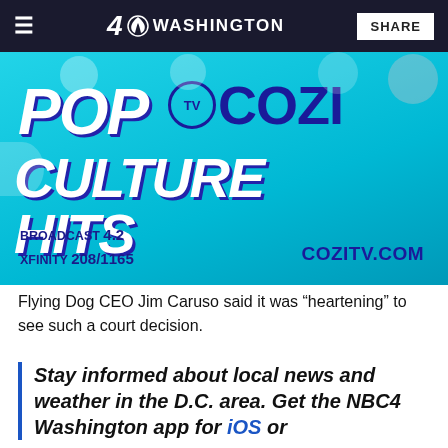4 NBC WASHINGTON | SHARE
[Figure (illustration): Cozi TV advertisement banner with pop culture hits branding, showing broadcast 4.2, XFINITY 208/1165, COZITV.COM]
Flying Dog CEO Jim Caruso said it was “heartening” to see such a court decision.
Stay informed about local news and weather in the D.C. area. Get the NBC4 Washington app for iOS or